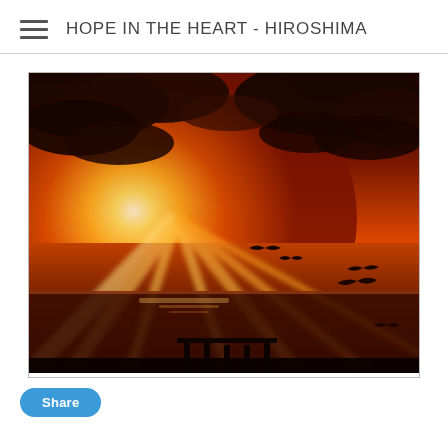HOPE IN THE HEART - HIROSHIMA
[Figure (photo): Dramatic sunset over water with birds in silhouette flying against a deep red-orange sky with sun rays breaking through dark clouds, reflecting on the ocean below.]
Share